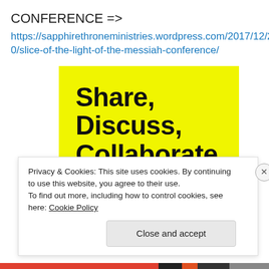CONFERENCE =>
https://sapphirethroneministries.wordpress.com/2017/12/20/slice-of-the-light-of-the-messiah-conference/
[Figure (illustration): Yellow background image with bold black text reading 'Share, Discuss, Collaborate, P2.']
Privacy & Cookies: This site uses cookies. By continuing to use this website, you agree to their use.
To find out more, including how to control cookies, see here: Cookie Policy